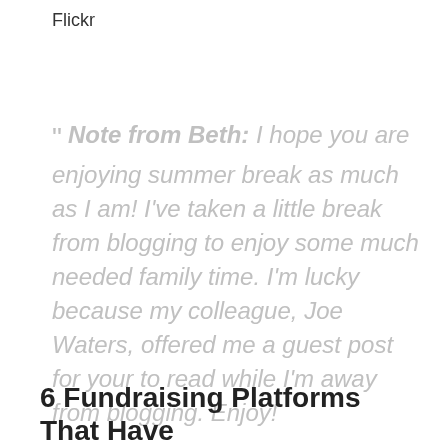Flickr
" Note from Beth: I hope you are enjoying summer break as much as I am!  I've taken a little break from blogging to enjoy some much needed family time.   I'm lucky because my colleague, Joe Waters, offered me a guest post for your to read while I'm away from blogging.  Enjoy!
6 Fundraising Platforms That Have